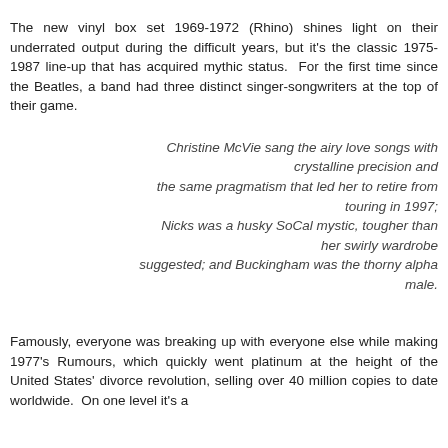The new vinyl box set 1969-1972 (Rhino) shines light on their underrated output during the difficult years, but it's the classic 1975-1987 line-up that has acquired mythic status. For the first time since the Beatles, a band had three distinct singer-songwriters at the top of their game.
Christine McVie sang the airy love songs with crystalline precision and the same pragmatism that led her to retire from touring in 1997; Nicks was a husky SoCal mystic, tougher than her swirly wardrobe suggested; and Buckingham was the thorny alpha male.
Famously, everyone was breaking up with everyone else while making 1977's Rumours, which quickly went platinum at the height of the United States' divorce revolution, selling over 40 million copies to date worldwide. On one level it's a